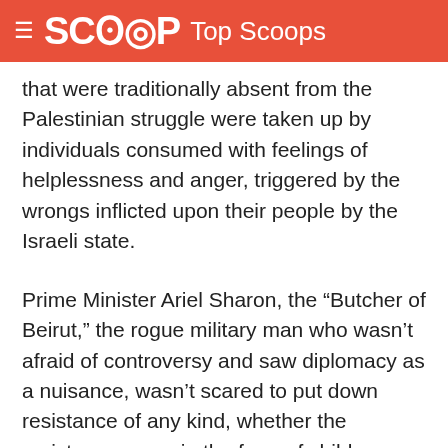SCOOP Top Scoops
that were traditionally absent from the Palestinian struggle were taken up by individuals consumed with feelings of helplessness and anger, triggered by the wrongs inflicted upon their people by the Israeli state.
Prime Minister Ariel Sharon, the “Butcher of Beirut,” the rogue military man who wasn’t afraid of controversy and saw diplomacy as a nuisance, wasn’t scared to put down resistance of any kind, whether the resistance came in the form of children throwing rocks or a group non-violently protesting against the Apartheid Wall. His bulldog tactics and ruthless policies were not only his modus operandi but his raison d’être. It was in this context that his policies